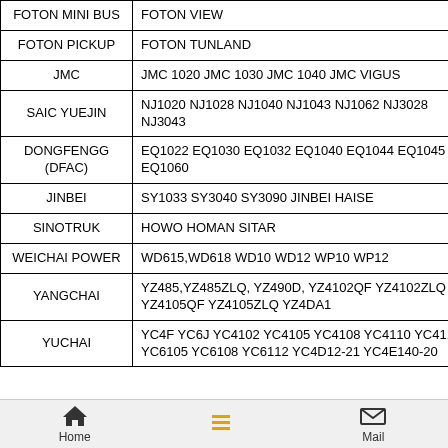| Brand | Models |
| --- | --- |
| FOTON MINI BUS | FOTON VIEW |
| FOTON PICKUP | FOTON TUNLAND |
| JMC | JMC 1020 JMC 1030 JMC 1040 JMC VIGUS |
| SAIC YUEJIN | NJ1020 NJ1028 NJ1040 NJ1043 NJ1062 NJ3028 NJ3043 |
| DONGFENGG (DFAC) | EQ1022 EQ1030 EQ1032 EQ1040 EQ1044 EQ1045 EQ1060 |
| JINBEI | SY1033 SY3040 SY3090 JINBEI HAISE |
| SINOTRUK | HOWO HOMAN SITAR |
| WEICHAI POWER | WD615,WD618 WD10 WD12 WP10 WP12 |
| YANGCHAI | YZ485,YZ485ZLQ, YZ490D, YZ4102QF YZ4102ZLQ YZ4105QF YZ4105ZLQ YZ4DA1 |
| YUCHAI | YC4F YC6J YC4102 YC4105 YC4108 YC4110 YC4112 YC6105 YC6108 YC6112 YC4D12-21 YC4E140-20 |
Home   Mail